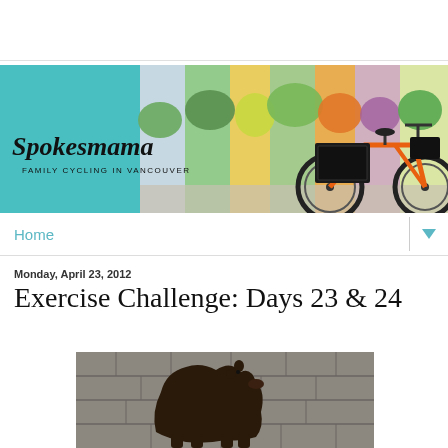[Figure (photo): Spokesmama blog banner showing an orange cargo bike in front of a colorful mural, with the blog name 'Spokesmama - Family Cycling in Vancouver' on the left side]
Home
Monday, April 23, 2012
Exercise Challenge: Days 23 & 24
[Figure (photo): A dark brown bear silhouette painted as street art / mural on a stone or brick wall]